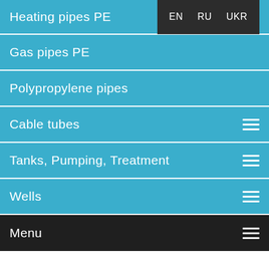Heating pipes PE | EN  RU  UKR
Gas pipes PE
Polypropylene pipes
Cable tubes
Tanks, Pumping, Treatment
Wells
Menu
PIPE INSTALLATION
Installation of pipes  |  No Comments
Technology pipeline laying SPIRO
Trenchless pipe repair pipes SPIRO